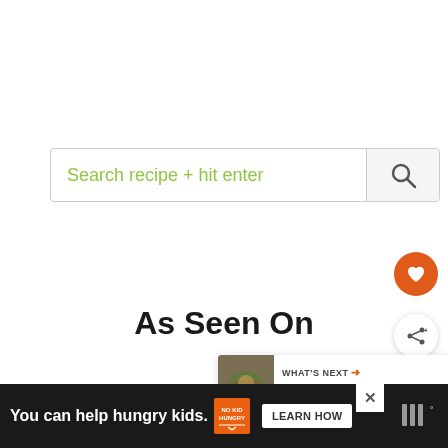[Figure (screenshot): Search bar with placeholder text 'Search recipe + hit enter' and a magnifying glass icon button on the right]
[Figure (infographic): Orange circular heart/favorite button on the right side]
[Figure (infographic): White circular share button with share icon on the right side]
As Seen On
[Figure (infographic): WHAT'S NEXT panel with thumbnail image and text 'Grilled Ginger Shrimp BBQ...']
COOKING
[Figure (infographic): Advertisement bar at the bottom: 'You can help hungry kids.' with No Kid Hungry logo, LEARN HOW button, and WW logo]